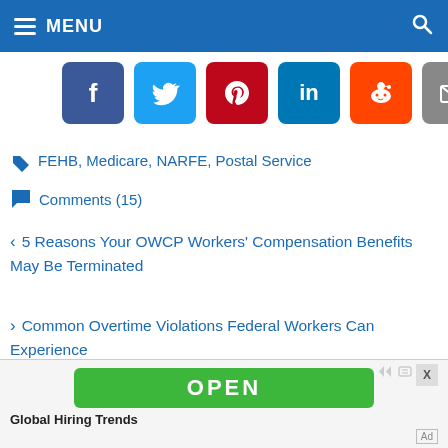MENU
[Figure (other): Row of social sharing buttons: Facebook (blue), Twitter (light blue), Pinterest (dark red), LinkedIn (blue), Reddit (orange), Email (gray)]
FEHB, Medicare, NARFE, Postal Service
Comments (15)
‹  5 Reasons Your OWCP Workers' Compensation Benefits May Be Terminated
›  Common Overtime Violations Federal Workers Can Experience
[Figure (other): Advertisement banner with green OPEN button and text 'Global Hiring Trends']